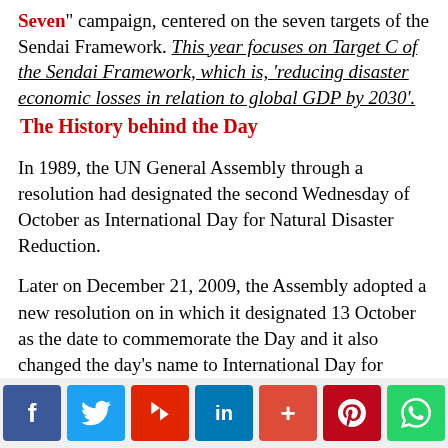Seven" campaign, centered on the seven targets of the Sendai Framework. This year focuses on Target C of the Sendai Framework, which is, 'reducing disaster economic losses in relation to global GDP by 2030'.
The History behind the Day
In 1989, the UN General Assembly through a resolution had designated the second Wednesday of October as International Day for Natural Disaster Reduction.
Later on December 21, 2009, the Assembly adopted a new resolution on in which it designated 13 October as the date to commemorate the Day and it also changed the day's name to International Day for Disaster
[Figure (other): Social media sharing buttons bar: Facebook, Twitter, Flipboard, LinkedIn, Google+, Pinterest, WhatsApp]